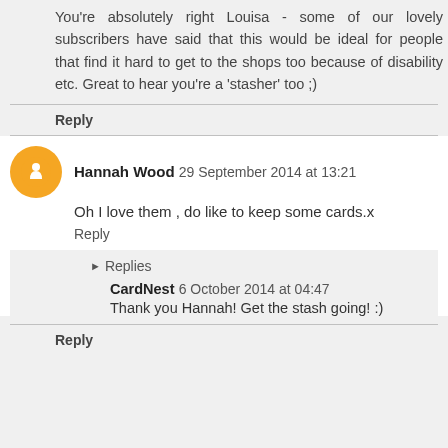You're absolutely right Louisa - some of our lovely subscribers have said that this would be ideal for people that find it hard to get to the shops too because of disability etc. Great to hear you're a 'stasher' too ;)
Reply
Hannah Wood 29 September 2014 at 13:21
Oh I love them , do like to keep some cards.x
Reply
Replies
CardNest 6 October 2014 at 04:47
Thank you Hannah! Get the stash going! :)
Reply